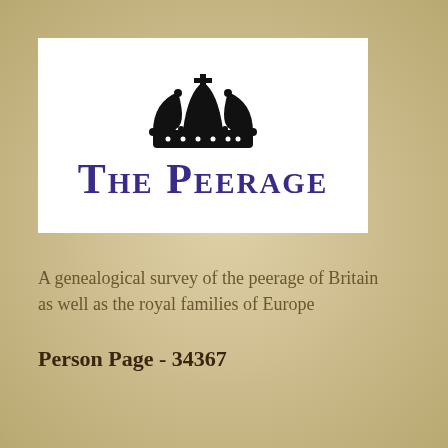[Figure (logo): The Peerage logo: a black royal crown above the text 'THE PEERAGE' in large purple small-caps serif font, on a white background]
A genealogical survey of the peerage of Britain as well as the royal families of Europe
Person Page - 34367